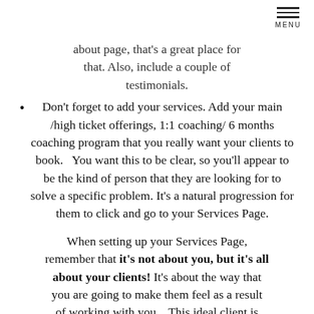MENU
about page, that's a great place for that. Also, include a couple of testimonials.
Don't forget to add your services. Add your main /high ticket offerings, 1:1 coaching/ 6 months coaching program that you really want your clients to book.   You want this to be clear, so you'll appear to be the kind of person that they are looking for to solve a specific problem. It's a natural progression for them to click and go to your Services Page.
When setting up your Services Page, remember that it's not about you, but it's all about your clients! It's about the way that you are going to make them feel as a result of working with you.   This ideal client is